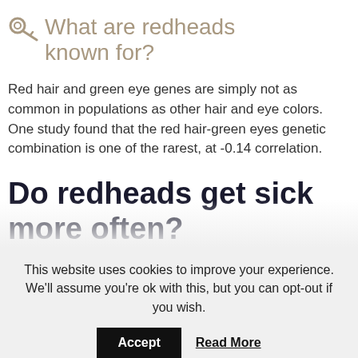What are redheads known for?
Red hair and green eye genes are simply not as common in populations as other hair and eye colors. One study found that the red hair-green eyes genetic combination is one of the rarest, at -0.14 correlation.
Do redheads get sick more often?
This website uses cookies to improve your experience. We'll assume you're ok with this, but you can opt-out if you wish.
Accept   Read More